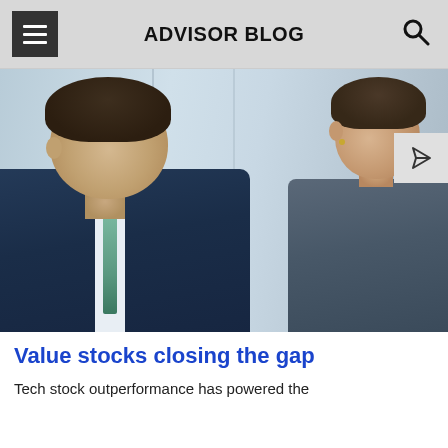ADVISOR BLOG
[Figure (photo): Two business professionals in formal attire — a man in a dark navy suit with a green tie looking down, and a woman in a grey outfit facing him, shown in a professional office setting.]
Value stocks closing the gap
Tech stock outperformance has powered the